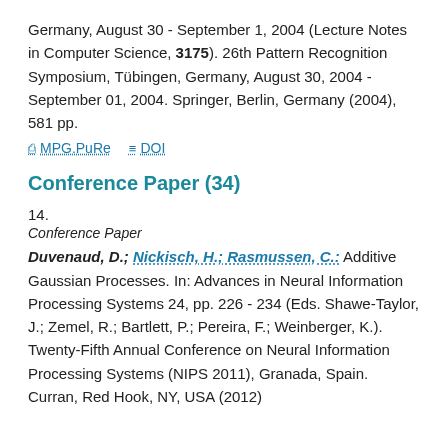Germany, August 30 - September 1, 2004 (Lecture Notes in Computer Science, 3175). 26th Pattern Recognition Symposium, Tübingen, Germany, August 30, 2004 - September 01, 2004. Springer, Berlin, Germany (2004), 581 pp.
MPG.PuRe   DOI
Conference Paper (34)
14.
Conference Paper
Duvenaud, D.; Nickisch, H.; Rasmussen, C.: Additive Gaussian Processes. In: Advances in Neural Information Processing Systems 24, pp. 226 - 234 (Eds. Shawe-Taylor, J.; Zemel, R.; Bartlett, P.; Pereira, F.; Weinberger, K.). Twenty-Fifth Annual Conference on Neural Information Processing Systems (NIPS 2011), Granada, Spain. Curran, Red Hook, NY, USA (2012)